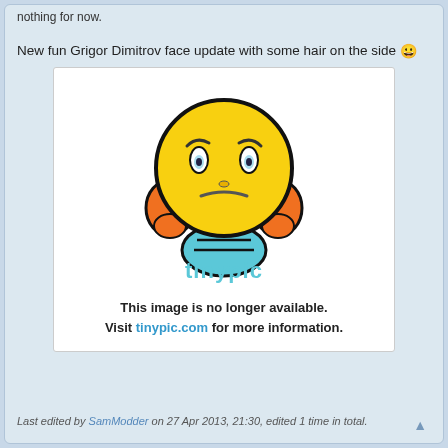nothing for now.
New fun Grigor Dimitrov face update with some hair on the side 😀
[Figure (illustration): TinyPic placeholder image showing a cartoon angry smiley face with orange ears/headphones and blue body, with TinyPic logo and text: This image is no longer available. Visit tinypic.com for more information.]
Last edited by SamModder on 27 Apr 2013, 21:30, edited 1 time in total.